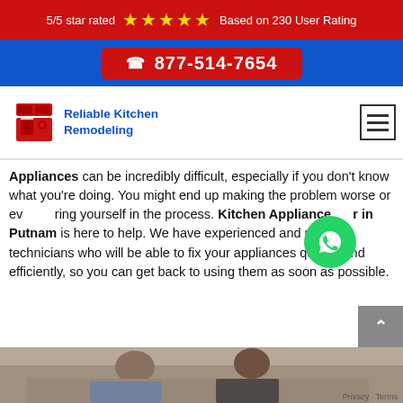5/5 star rated ★★★★★ Based on 230 User Rating
☎ 877-514-7654
[Figure (logo): Reliable Kitchen Remodeling logo - red kitchen illustration with stove and cabinets]
Reliable Kitchen Remodeling
Appliances can be incredibly difficult, especially if you don't know what you're doing. You might end up making the problem worse or even injuring yourself in the process. Kitchen Appliance Repair in Putnam is here to help. We have experienced and reliable technicians who will be able to fix your appliances quickly and efficiently, so you can get back to using them as soon as possible.
[Figure (photo): Photo of a man and woman looking at a broken kitchen appliance]
Privacy · Terms